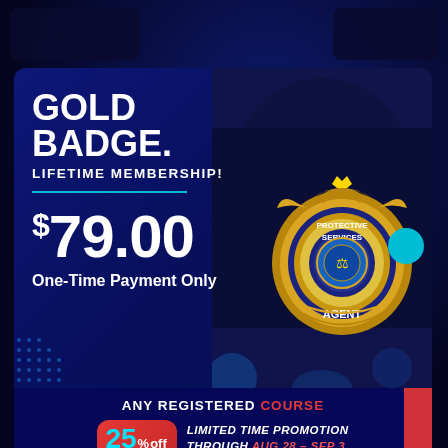GOLD BADGE.
LIFETIME MEMBERSHIP!
$79.00
One-Time Payment Only
[Figure (photo): Gold law enforcement protective services agent badge close-up photo]
ANY REGISTERED COURSE
25% off LIMITED TIME PROMOTION THROUGH AUG 28 – SEP 3
Promotional Code: POLICE25